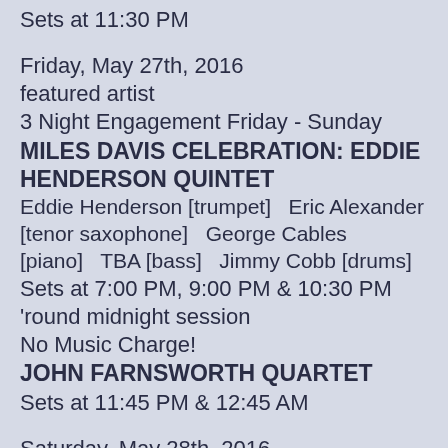Sets at 11:30 PM
Friday, May 27th, 2016
featured artist
3 Night Engagement Friday - Sunday
MILES DAVIS CELEBRATION: EDDIE HENDERSON QUINTET
Eddie Henderson [trumpet]   Eric Alexander [tenor saxophone]   George Cables [piano]   TBA [bass]   Jimmy Cobb [drums]
Sets at 7:00 PM, 9:00 PM & 10:30 PM
'round midnight session
No Music Charge!
JOHN FARNSWORTH QUARTET
Sets at 11:45 PM & 12:45 AM
Saturday, May 28th, 2016
featured artist
3 Night Engagement Friday - Sunday
MILES DAVIS CELEBRATION: EDDIE